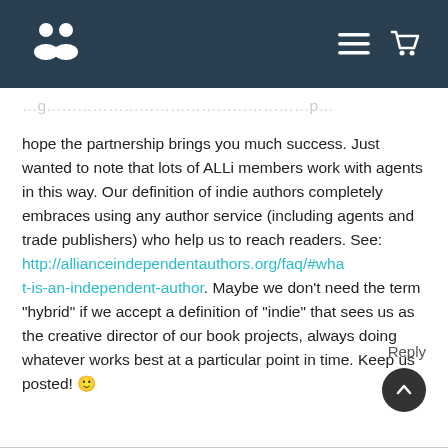ALLi website navigation bar with logo and menu/cart icons
…hope the partnership brings you much success. Just wanted to note that lots of ALLi members work with agents in this way. Our definition of indie authors completely embraces using any author service (including agents and trade publishers) who help us to reach readers. See: http://allianceindependentauthors.org/faq/#what-is-an-independent-author. Maybe we don't need the term “hybrid” if we accept a definition of “indie” that sees us as the creative director of our book projects, always doing whatever works best at a particular point in time. Keep us posted! 🙂